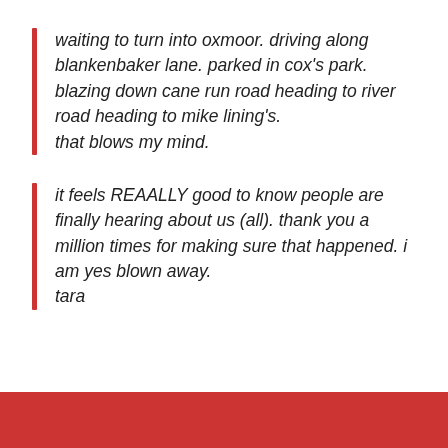waiting to turn into oxmoor. driving along blankenbaker lane. parked in cox's park. blazing down cane run road heading to river road heading to mike lining's.
that blows my mind.
it feels REAALLY good to know people are finally hearing about us (all). thank you a million times for making sure that happened. i am yes blown away.
tara